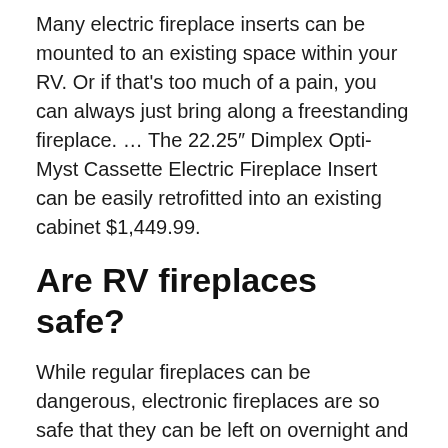Many electric fireplace inserts can be mounted to an existing space within your RV. Or if that's too much of a pain, you can always just bring along a freestanding fireplace. … The 22.25″ Dimplex Opti-Myst Cassette Electric Fireplace Insert can be easily retrofitted into an existing cabinet $1,449.99.
Are RV fireplaces safe?
While regular fireplaces can be dangerous, electronic fireplaces are so safe that they can be left on overnight and will be no threat to your safety. Simply turn on your fireplace and relax. They are very economical to operate. It takes only pennies to operate them every year versus conventional